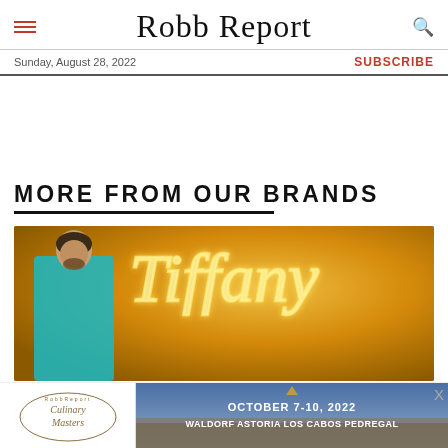Robb Report
Sunday, August 28, 2022
SUBSCRIBE
MORE FROM OUR BRANDS
[Figure (photo): A man in a teal/turquoise blazer standing in front of a golden neon Tiffany sign]
[Figure (photo): Bottom advertisement bar showing Robb Report Culinary Masters logo on the left and an ad for October 7-10 2022 Waldorf Astoria Los Cabos Pedregal on the right]